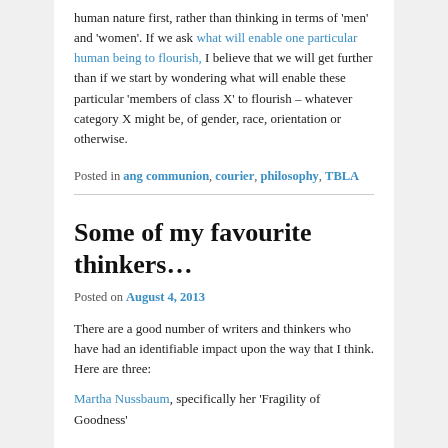human nature first, rather than thinking in terms of 'men' and 'women'. If we ask what will enable one particular human being to flourish, I believe that we will get further than if we start by wondering what will enable these particular 'members of class X' to flourish – whatever category X might be, of gender, race, orientation or otherwise.
Posted in ang communion, courier, philosophy, TBLA
Some of my favourite thinkers…
Posted on August 4, 2013
There are a good number of writers and thinkers who have had an identifiable impact upon the way that I think. Here are three:
Martha Nussbaum, specifically her 'Fragility of Goodness'